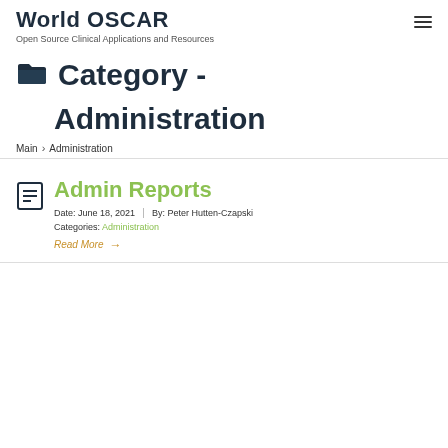World OSCAR
Open Source Clinical Applications and Resources
Category - Administration
Main > Administration
Admin Reports
Date: June 18, 2021 | By: Peter Hutten-Czapski
Categories: Administration
Read More →